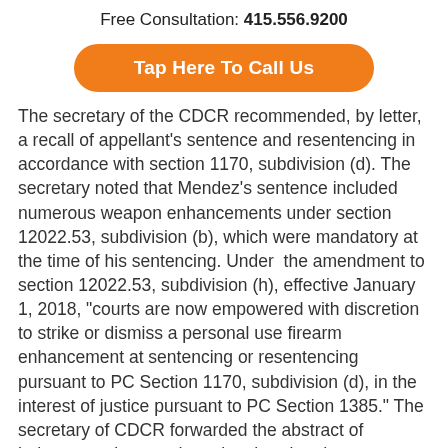Free Consultation: 415.556.9200
[Figure (other): Orange rounded button with white bold text: Tap Here To Call Us]
The secretary of the CDCR recommended, by letter, a recall of appellant's sentence and resentencing in accordance with section 1170, subdivision (d). The secretary noted that Mendez’s sentence included numerous weapon enhancements under section 12022.53, subdivision (b), which were mandatory at the time of his sentencing. Under the amendment to section 12022.53, subdivision (h), effective January 1, 2018, “courts are now empowered with discretion to strike or dismiss a personal use firearm enhancement at sentencing or resentencing pursuant to PC Section 1170, subdivision (d), in the interest of justice pursuant to PC Section 1385.” The secretary of CDCR forwarded the abstract of judgment, minute orders, the charging documents, and a cumulative case summary. Based on the secretary’s review of these documents, the secretary